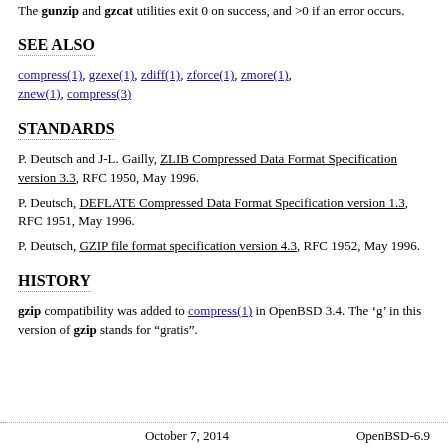The gunzip and gzcat utilities exit 0 on success, and >0 if an error occurs.
SEE ALSO
compress(1), gzexe(1), zdiff(1), zforce(1), zmore(1), znew(1), compress(3)
STANDARDS
P. Deutsch and J-L. Gailly, ZLIB Compressed Data Format Specification version 3.3, RFC 1950, May 1996.
P. Deutsch, DEFLATE Compressed Data Format Specification version 1.3, RFC 1951, May 1996.
P. Deutsch, GZIP file format specification version 4.3, RFC 1952, May 1996.
HISTORY
gzip compatibility was added to compress(1) in OpenBSD 3.4. The 'g' in this version of gzip stands for "gratis".
October 7, 2014                                                    OpenBSD-6.9